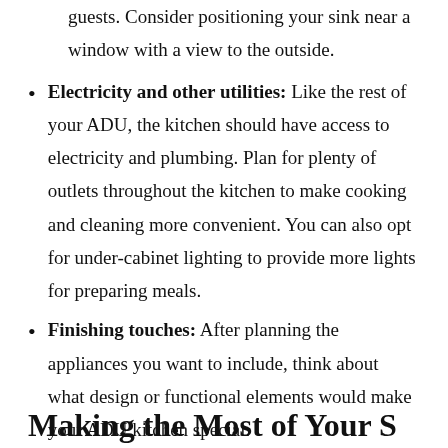guests. Consider positioning your sink near a window with a view to the outside.
Electricity and other utilities: Like the rest of your ADU, the kitchen should have access to electricity and plumbing. Plan for plenty of outlets throughout the kitchen to make cooking and cleaning more convenient. You can also opt for under-cabinet lighting to provide more lights for preparing meals.
Finishing touches: After planning the appliances you want to include, think about what design or functional elements would make your ADU kitchen special.
Making the Most of Your S